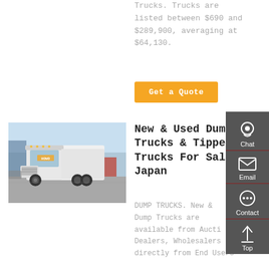Trucks. Trucks are listed between $690 and $289,900, averaging at $64,130.
Get a Quote
[Figure (photo): White dump truck (HOWO brand) parked in a lot with other vehicles visible in the background]
New & Used Dump Trucks & Tipper Trucks For Sale In Japan
DUMP TRUCKS. New & Used Dump Trucks are available from Auction, Dealers, Wholesalers and directly from End Users